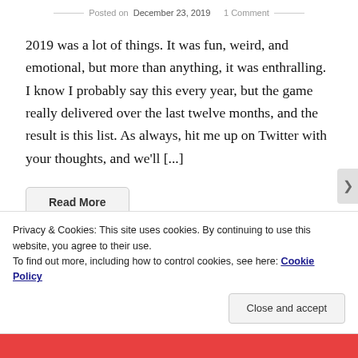Posted on December 23, 2019   1 Comment
2019 was a lot of things. It was fun, weird, and emotional, but more than anything, it was enthralling. I know I probably say this every year, but the game really delivered over the last twelve months, and the result is this list. As always, hit me up on Twitter with your thoughts, and we'll [...]
Read More
Privacy & Cookies: This site uses cookies. By continuing to use this website, you agree to their use.
To find out more, including how to control cookies, see here: Cookie Policy
Close and accept